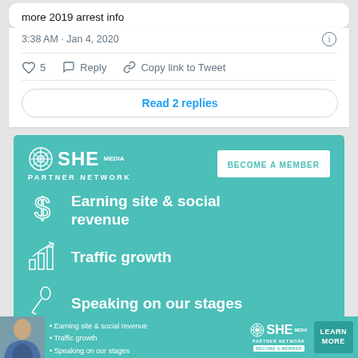more 2019 arrest info
3:38 AM · Jan 4, 2020
♡ 5   Reply   Copy link to Tweet
Read 2 replies
[Figure (infographic): SHE Media Partner Network advertisement with teal background. Shows logo, 'BECOME A MEMBER' button, three bullet items: 'Earning site & social revenue', 'Traffic growth', 'Speaking on our stages', and a 'LEARN MORE' button.]
[Figure (infographic): Bottom banner ad for SHE Media Partner Network with photo of woman, bullet points listing benefits, logo, and 'LEARN MORE' button.]